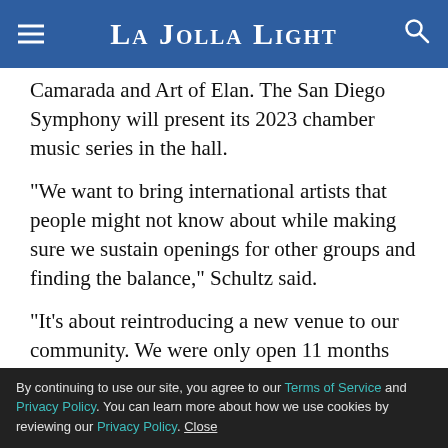La Jolla Light
Camarada and Art of Elan. The San Diego Symphony will present its 2023 chamber music series in the hall.
“We want to bring international artists that people might not know about while making sure we sustain openings for other groups and finding the balance,” Schultz said.
“It’s about reintroducing a new venue to our community. We were only open 11 months before the quarantine restrictions began in early 2020. Few people knew about us or had been in the building. We are
By continuing to use our site, you agree to our Terms of Service and Privacy Policy. You can learn more about how we use cookies by reviewing our Privacy Policy. Close